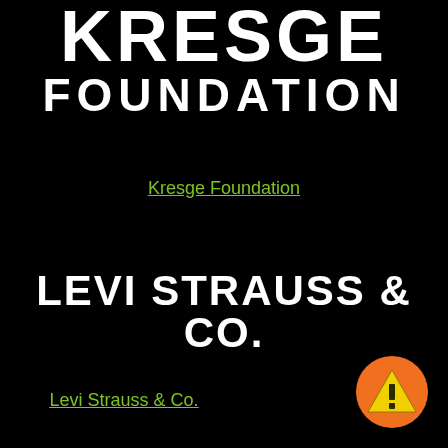[Figure (logo): Kresge Foundation logo - large white text KRESGE on top, FOUNDATION below, on black background]
Kresge Foundation
[Figure (logo): Levi Strauss & Co. logo - bold white text on black background]
Levi Strauss & Co.
[Figure (illustration): Orange circular warning badge with yellow triangle and exclamation mark]